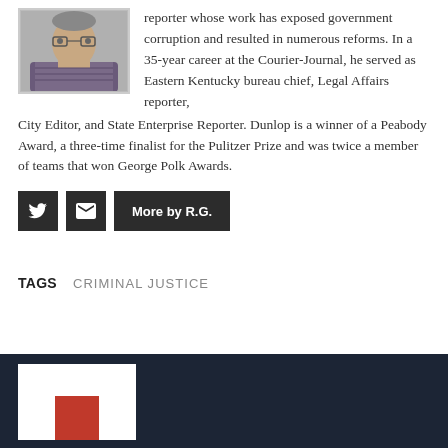[Figure (photo): Headshot photo of a man wearing glasses and a patterned sweater]
reporter whose work has exposed government corruption and resulted in numerous reforms. In a 35-year career at the Courier-Journal, he served as Eastern Kentucky bureau chief, Legal Affairs reporter, City Editor, and State Enterprise Reporter. Dunlop is a winner of a Peabody Award, a three-time finalist for the Pulitzer Prize and was twice a member of teams that won George Polk Awards.
More by R.G.
TAGS   CRIMINAL JUSTICE
[Figure (logo): Publication logo — white box with red square element in dark footer]